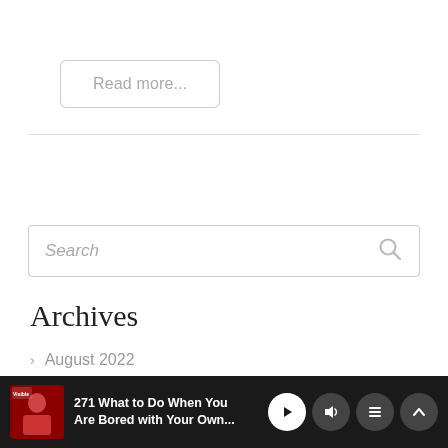Read more...
[Figure (other): Search input box with placeholder text 'Search' and a search icon on the right]
Archives
> August 2022
> July 2022
[Figure (other): Podcast player bar at bottom: thumbnail image of podcast 'Visible', title '271 What to Do When You Are Bored with Your Own...', play button, volume button, playlist button, expand button]